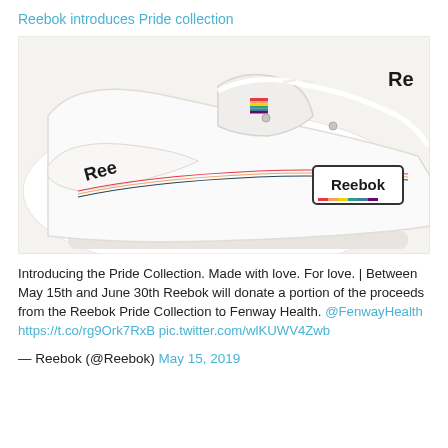Reebok introduces Pride collection
[Figure (photo): Close-up photo of a white Reebok sneaker with rainbow pride stripe accents and a Reebok logo patch featuring rainbow colors]
Introducing the Pride Collection. Made with love. For love. | Between May 15th and June 30th Reebok will donate a portion of the proceeds from the Reebok Pride Collection to Fenway Health. @FenwayHealth https://t.co/rg9Ork7RxB pic.twitter.com/wlKUWV4Zwb
— Reebok (@Reebok) May 15, 2019